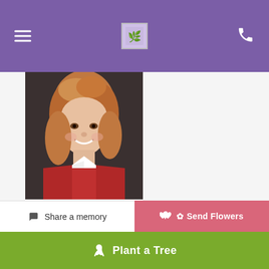[Figure (photo): Portrait photo of a middle-aged woman with medium-length reddish-blonde hair, wearing a red jacket with white collar, smiling at the camera against a dark background.]
Add Photos
Upload up to 10 images at a time, max 8MB each
Share a memory
Send Flowers
Plant a Tree